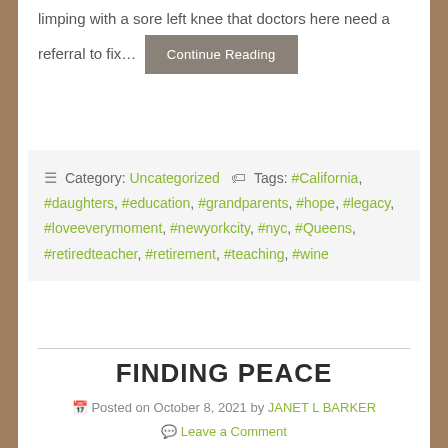limping with a sore left knee that doctors here need a referral to fix…
Continue Reading
≡ Category: Uncategorized 🏷 Tags: #California, #daughters, #education, #grandparents, #hope, #legacy, #loveeverymoment, #newyorkcity, #nyc, #Queens, #retiredteacher, #retirement, #teaching, #wine
FINDING PEACE
Posted on October 8, 2021 by JANET L BARKER
Leave a Comment